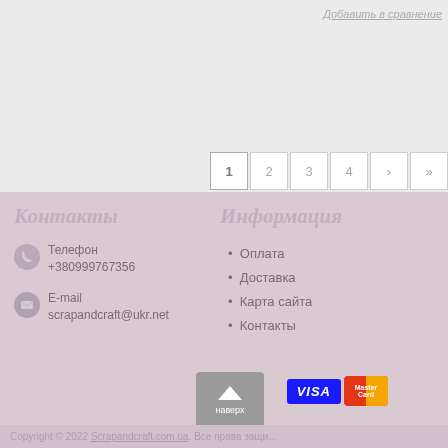Добавить в сравнение
1 2 3 4 > »
Контакты
Телефон
+380999767356
E-mail
scrapandcraft@ukr.net
Информация
Оплата
Доставка
Карта сайта
Контакты
Copyright © 2022 Scrapandcraft.com.ua. Все права защи...